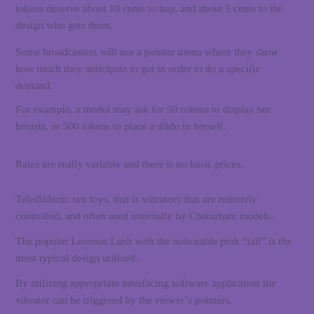tokens deserve about 10 cents to buy, and about 5 cents to the design who gets them.
Some broadcasters will use a pointer menu where they show how much they anticipate to get in order to do a specific demand.
For example, a model may ask for 50 tokens to display her breasts, or 500 tokens to place a dildo in herself.
Rates are really variable and there is no basic prices.
Teledildonic sex toys, that is vibrators that are remotely controlled, and often used internally by Chaturbate models.
The popular Lovense Lush with the noticeable pink “tail” is the most typical design utilized.
By utilizing appropriate interfacing software application the vibrator can be triggered by the viewer’s pointers.